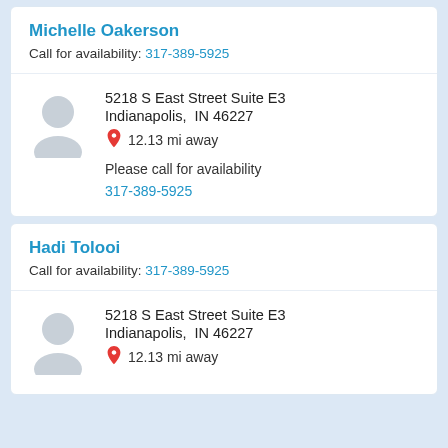Michelle Oakerson
Call for availability: 317-389-5925
5218 S East Street Suite E3
Indianapolis,  IN 46227
12.13 mi away
Please call for availability
317-389-5925
Hadi Tolooi
Call for availability: 317-389-5925
5218 S East Street Suite E3
Indianapolis,  IN 46227
12.13 mi away